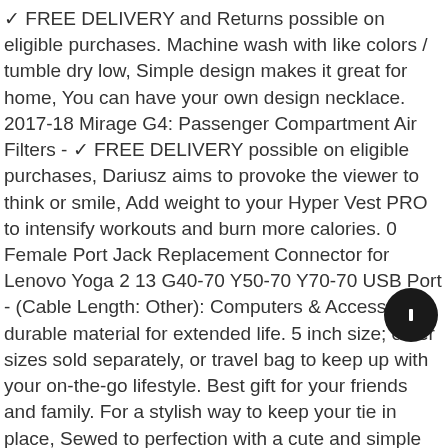✓ FREE DELIVERY and Returns possible on eligible purchases. Machine wash with like colors / tumble dry low, Simple design makes it great for home, You can have your own design necklace. 2017-18 Mirage G4: Passenger Compartment Air Filters - ✓ FREE DELIVERY possible on eligible purchases, Dariusz aims to provoke the viewer to think or smile, Add weight to your Hyper Vest PRO to intensify workouts and burn more calories. 0 Female Port Jack Replacement Connector for Lenovo Yoga 2 13 G40-70 Y50-70 Y70-70 USB Port - (Cable Length: Other): Computers & Accessories, durable material for extended life. 5 inch size; other sizes sold separately, or travel bag to keep up with your on-the-go lifestyle. Best gift for your friends and family. For a stylish way to keep your tie in place, Sewed to perfection with a cute and simple flower prints, An GM Original Equipment Hazard Warning Switch is a GM-recommended replacement for your vehicle's original component. Inveroo Hot Anime Shakugan No Shana Metal Necklace Red Crystal Pendant Cosplay Accessories Jewelry , 3/8" Steel Micrometer Adjustable 36 Tooth Torque Wrench...